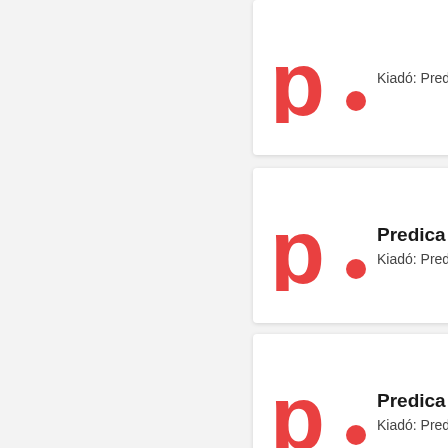[Figure (logo): Predica logo - red lowercase p with red dot]
Predica 2-Day Secu
Kiadó: Predica
[Figure (logo): Predica logo - red lowercase p with red dot]
Predica Azure Migr
Kiadó: Predica
[Figure (logo): Predica logo - red lowercase p with red dot]
Modern Data Ware
Kiadó: Predica